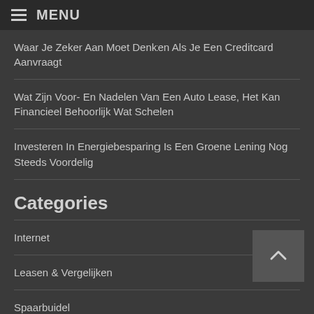MENU
Waar Je Zeker Aan Moet Denken Als Je Een Creditcard Aanvraagt
Wat Zijn Voor- En Nadelen Van Een Auto Lease, Het Kan Financieel Behoorlijk Wat Schelen
Investeren In Energiebesparing Is Een Groene Lening Nog Steeds Voordelig
Categories
Internet
Leasen & Vergelijken
Spaarbuidel
Telefoon